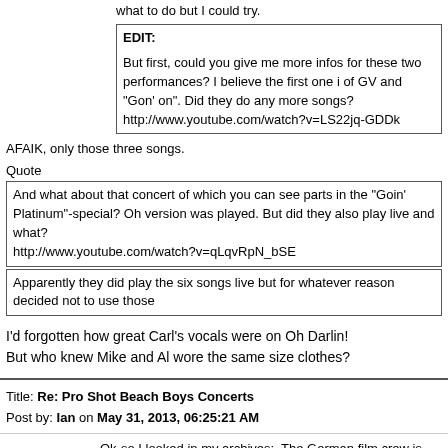what to do but I could try.
EDIT:
But first, could you give me more infos for these two performances? I believe the first one i of GV and "Gon' on". Did they do any more songs?
http://www.youtube.com/watch?v=LS22jq-GDDk
AFAIK, only those three songs.
Quote
And what about that concert of which you can see parts in the "Goin' Platinum"-special? Oh version was played. But did they also play live and what?
http://www.youtube.com/watch?v=qLqvRpN_bSE
Apparently they did play the six songs live but for whatever reason decided not to use those
I'd forgotten how great Carl's vocals were on Oh Darlin!
But who knew Mike and Al wore the same size clothes?
Title: Re: Pro Shot Beach Boys Concerts
Post by: Ian on May 31, 2013, 06:25:21 AM
Ok-so I looked in my archives:  The German film crew is not named sp paper from February 1965 explains that members of the Yonkers Rock by a German film crew who said they were making a movie and wanted them from someone).  Members of the club went to see the BBs perfo footage of the boys meeting the BBs.  The Hit Parader article-confirms and indeed in one photo you can see Brian looking at the Surfer Girl al filming him.  But that's it-obviously American media had little interest in been for a documentary film rather (perhaps on American youth culture By the way-the BBs filmed a TV app for the "German Second Program"